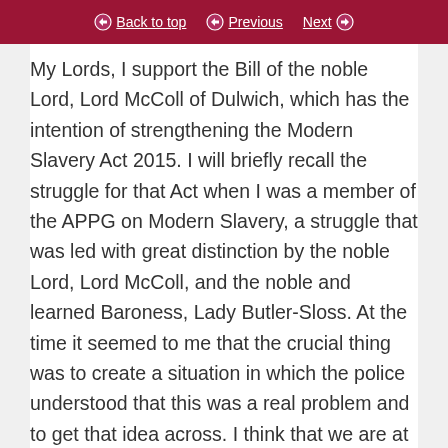Back to top  Previous  Next
My Lords, I support the Bill of the noble Lord, Lord McColl of Dulwich, which has the intention of strengthening the Modern Slavery Act 2015. I will briefly recall the struggle for that Act when I was a member of the APPG on Modern Slavery, a struggle that was led with great distinction by the noble Lord, Lord McColl, and the noble and learned Baroness, Lady Butler-Sloss. At the time it seemed to me that the crucial thing was to create a situation in which the police understood that this was a real problem and to get that idea across. I think that we are at the beginning of a real change and that there has been a degree of success. Noble Lords may recall that 20 years or so ago—a generation ago—domestic violence was not